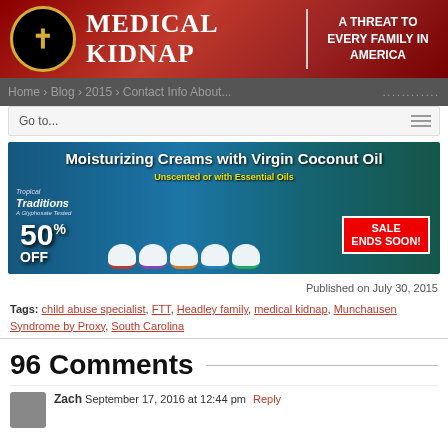[Figure (logo): Medical Kidnap website header banner with logo, site name, and tagline 'A Threat to Every Family in America']
Go to...
[Figure (photo): Advertisement banner for Moisturizing Creams with Virgin Coconut Oil, unscented or with Essential Oils, 50% OFF, Sale Ends Soon]
Published on July 30, 2015
Tags: child abuse specialist, FTT, Headley family, medical kidnap, Munchausen Syndrome by Proxy, South Carolina
96 Comments
Zach September 17, 2016 at 12:44 pm Reply